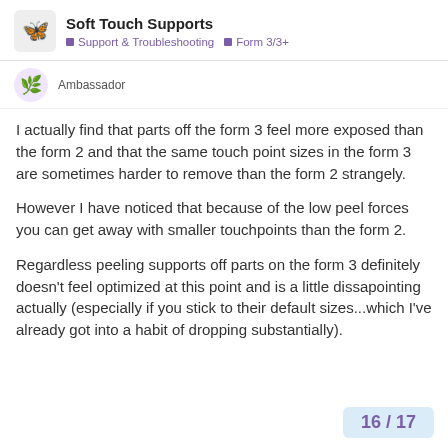Soft Touch Supports | Support & Troubleshooting | Form 3/3+
Ambassador
I actually find that parts off the form 3 feel more exposed than the form 2 and that the same touch point sizes in the form 3 are sometimes harder to remove than the form 2 strangely.
However I have noticed that because of the low peel forces you can get away with smaller touchpoints than the form 2.
Regardless peeling supports off parts on the form 3 definitely doesn't feel optimized at this point and is a little dissapointing actually (especially if you stick to their default sizes...which I've already got into a habit of dropping substantially).
16 / 17